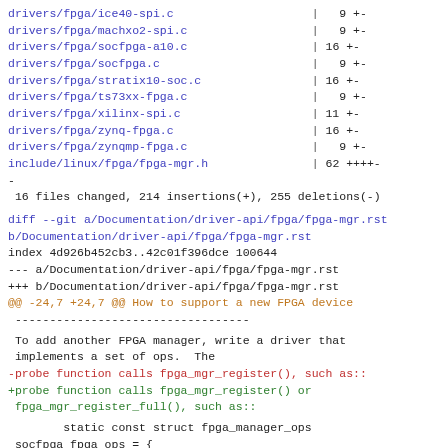drivers/fpga/ice40-spi.c                    |  9 +-
drivers/fpga/machxo2-spi.c                  |  9 +-
drivers/fpga/socfpga-a10.c                  | 16 +-
drivers/fpga/socfpga.c                      |  9 +-
drivers/fpga/stratix10-soc.c                | 16 +-
drivers/fpga/ts73xx-fpga.c                  |  9 +-
drivers/fpga/xilinx-spi.c                   | 11 +-
drivers/fpga/zynq-fpga.c                    | 16 +-
drivers/fpga/zynqmp-fpga.c                  |  9 +-
include/linux/fpga/fpga-mgr.h               | 62 ++++-
-
 16 files changed, 214 insertions(+), 255 deletions(-)
diff --git a/Documentation/driver-api/fpga/fpga-mgr.rst b/Documentation/driver-api/fpga/fpga-mgr.rst
index 4d926b452cb3..42c01f396dce 100644
--- a/Documentation/driver-api/fpga/fpga-mgr.rst
+++ b/Documentation/driver-api/fpga/fpga-mgr.rst
@@ -24,7 +24,7 @@ How to support a new FPGA device
 -----------------------------------
To add another FPGA manager, write a driver that implements a set of ops.  The
-probe function calls fpga_mgr_register(), such as::
+probe function calls fpga_mgr_register() or
fpga_mgr_register_full(), such as::
static const struct fpga_manager_ops
socfpga_fpga_ops = {
                write_init =